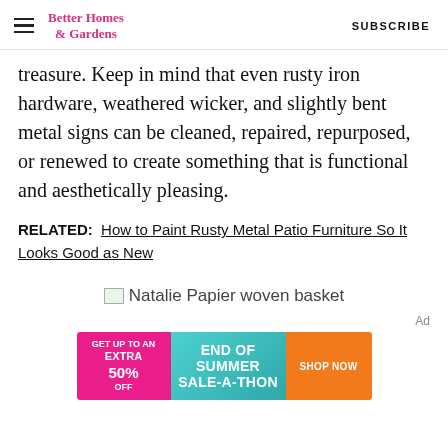Better Homes & Gardens | SUBSCRIBE
treasure. Keep in mind that even rusty iron hardware, weathered wicker, and slightly bent metal signs can be cleaned, repaired, repurposed, or renewed to create something that is functional and aesthetically pleasing.
RELATED:  How to Paint Rusty Metal Patio Furniture So It Looks Good as New
[Figure (photo): Natalie Papier woven basket image placeholder]
Natalie Papier woven basket
[Figure (other): Advertisement banner: GET UP TO AN EXTRA 50% OFF | END OF SUMMER SALE-A-THON | SHOP NOW]